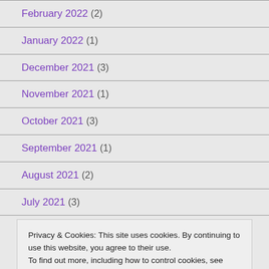February 2022 (2)
January 2022 (1)
December 2021 (3)
November 2021 (1)
October 2021 (3)
September 2021 (1)
August 2021 (2)
July 2021 (3)
June 2021 (1)
Privacy & Cookies: This site uses cookies. By continuing to use this website, you agree to their use. To find out more, including how to control cookies, see here: Cookie Policy
Close and accept